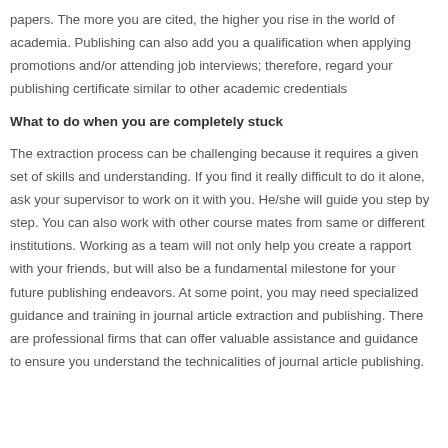papers. The more you are cited, the higher you rise in the world of academia. Publishing can also add you a qualification when applying promotions and/or attending job interviews; therefore, regard your publishing certificate similar to other academic credentials
What to do when you are completely stuck
The extraction process can be challenging because it requires a given set of skills and understanding. If you find it really difficult to do it alone, ask your supervisor to work on it with you. He/she will guide you step by step. You can also work with other course mates from same or different institutions. Working as a team will not only help you create a rapport with your friends, but will also be a fundamental milestone for your future publishing endeavors. At some point, you may need specialized guidance and training in journal article extraction and publishing. There are professional firms that can offer valuable assistance and guidance to ensure you understand the technicalities of journal article publishing.